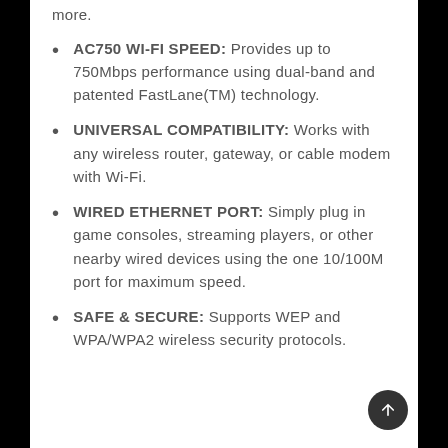more.
AC750 WI-FI SPEED: Provides up to 750Mbps performance using dual-band and patented FastLane(TM) technology.
UNIVERSAL COMPATIBILITY: Works with any wireless router, gateway, or cable modem with Wi-Fi.
WIRED ETHERNET PORT: Simply plug in game consoles, streaming players, or other nearby wired devices using the one 10/100M port for maximum speed.
SAFE & SECURE: Supports WEP and WPA/WPA2 wireless security protocols.